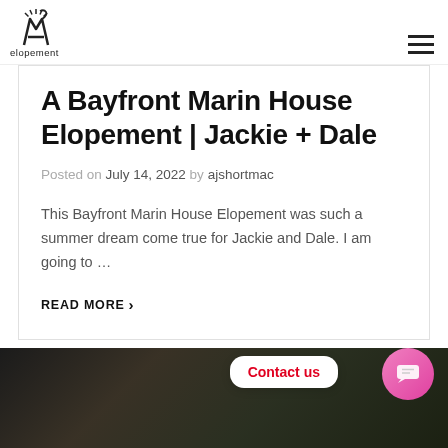elopement
A Bayfront Marin House Elopement | Jackie + Dale
Posted on July 14, 2022 by ajshortmac
This Bayfront Marin House Elopement was such a summer dream come true for Jackie and Dale. I am going to …
READ MORE ›
[Figure (photo): Dark nature/foliage photo at bottom of page]
Contact us